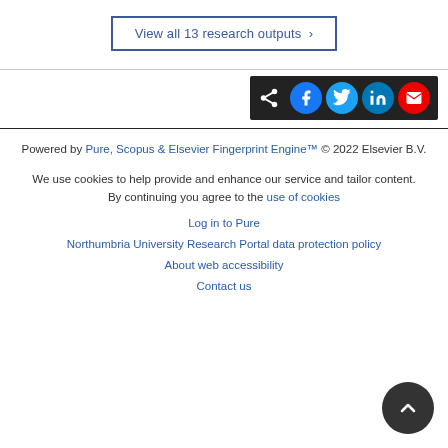View all 13 research outputs
[Figure (other): Social share bar with icons for Facebook, Twitter, LinkedIn, and Email on dark background]
Powered by Pure, Scopus & Elsevier Fingerprint Engine™ © 2022 Elsevier B.V.

We use cookies to help provide and enhance our service and tailor content. By continuing you agree to the use of cookies

Log in to Pure
Northumbria University Research Portal data protection policy
About web accessibility
Contact us